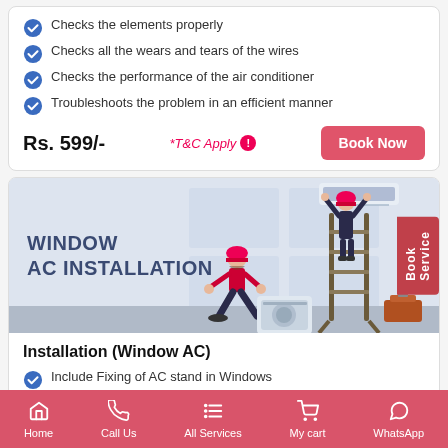Checks the elements properly
Checks all the wears and tears of the wires
Checks the performance of the air conditioner
Troubleshoots the problem in an efficient manner
Rs. 599/-   *T&C Apply   Book Now
[Figure (illustration): Window AC Installation banner with two technicians installing an AC unit, one on a ladder and one kneeling, with text WINDOW AC INSTALLATION]
Installation (Window AC)
Include Fixing of AC stand in Windows
Connect Ac Remote to Air Conditioner
Home   Call Us   All Services   My cart   WhatsApp